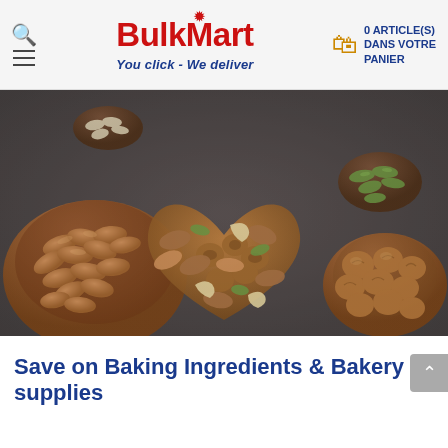BulkMart — You click - We deliver | 0 ARTICLE(S) DANS VOTRE PANIER
[Figure (photo): Overhead photo of mixed nuts — almonds, walnuts, cashews, pecans, pumpkin seeds — in wooden heart-shaped and round bowls on a dark slate background.]
Save on Baking Ingredients & Bakery supplies